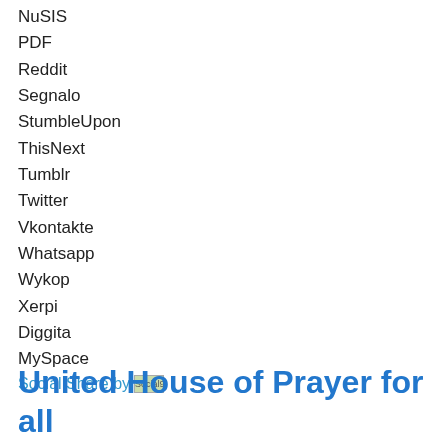NuSIS
PDF
Reddit
Segnalo
StumbleUpon
ThisNext
Tumblr
Twitter
Vkontakte
Whatsapp
Wykop
Xerpi
Diggita
MySpace
Social Share by Social9
United House of Prayer for all